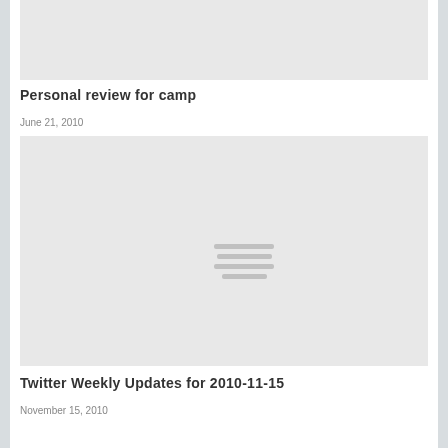[Figure (other): Gray placeholder image at top of page]
Personal review for camp
June 21, 2010
[Figure (other): Gray placeholder image with horizontal lines icon in center]
Twitter Weekly Updates for 2010-11-15
November 15, 2010